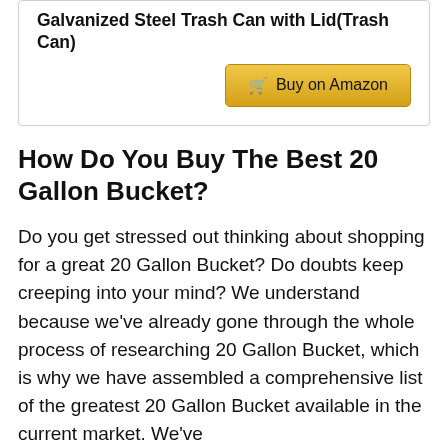Galvanized Steel Trash Can with Lid(Trash Can)
Buy on Amazon
How Do You Buy The Best 20 Gallon Bucket?
Do you get stressed out thinking about shopping for a great 20 Gallon Bucket? Do doubts keep creeping into your mind? We understand because we've already gone through the whole process of researching 20 Gallon Bucket, which is why we have assembled a comprehensive list of the greatest 20 Gallon Bucket available in the current market. We've